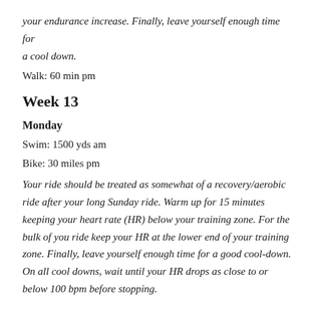your endurance increase. Finally, leave yourself enough time for a cool down.
Walk: 60 min pm
Week 13
Monday
Swim: 1500 yds am
Bike: 30 miles pm
Your ride should be treated as somewhat of a recovery/aerobic ride after your long Sunday ride. Warm up for 15 minutes keeping your heart rate (HR) below your training zone. For the bulk of you ride keep your HR at the lower end of your training zone. Finally, leave yourself enough time for a good cool-down. On all cool downs, wait until your HR drops as close to or below 100 bpm before stopping.